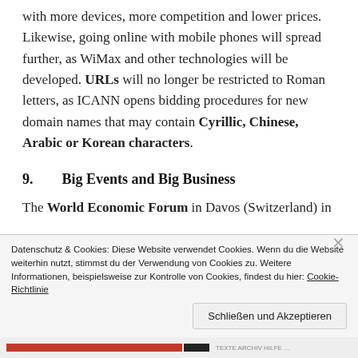with more devices, more competition and lower prices. Likewise, going online with mobile phones will spread further, as WiMax and other technologies will be developed. URLs will no longer be restricted to Roman letters, as ICANN opens bidding procedures for new domain names that may contain Cyrillic, Chinese, Arabic or Korean characters.
9.   Big Events and Big Business
The World Economic Forum in Davos (Switzerland) in
Datenschutz & Cookies: Diese Website verwendet Cookies. Wenn du die Website weiterhin nutzt, stimmst du der Verwendung von Cookies zu. Weitere Informationen, beispielsweise zur Kontrolle von Cookies, findest du hier: Cookie-Richtlinie